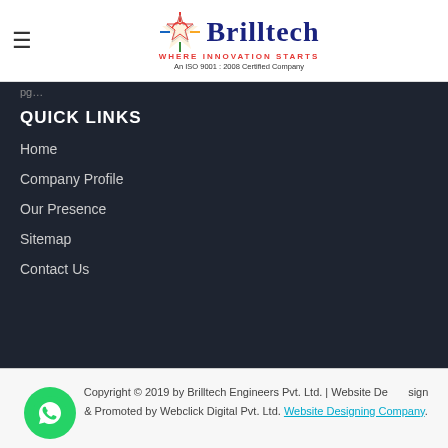Brilltech – WHERE INNOVATION STARTS – An ISO 9001 : 2008 Certified Company
Page…
QUICK LINKS
Home
Company Profile
Our Presence
Sitemap
Contact Us
Copyright © 2019 by Brilltech Engineers Pvt. Ltd. | Website Designing & Promoted by Webclick Digital Pvt. Ltd. Website Designing Company